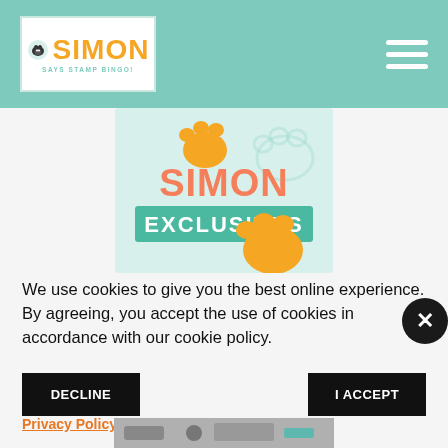Simon Says Stamp Bingo - Header with logo and hamburger menu
[Figure (logo): Simon Exclusives logo with paw print design, orange text 'SIMON' and teal banner 'EXCLUSIVES' on light teal background with paw prints]
We use cookies to give you the best online experience. By agreeing, you accept the use of cookies in accordance with our cookie policy.
DECLINE
I ACCEPT
Privacy Policy  Cookie Policy
[Figure (photo): Partial view of crafting supplies at the bottom of the page]